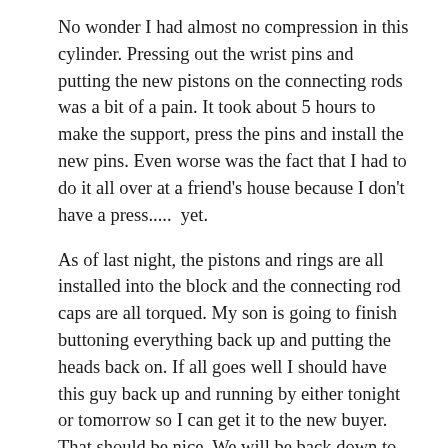No wonder I had almost no compression in this cylinder. Pressing out the wrist pins and putting the new pistons on the connecting rods was a bit of a pain. It took about 5 hours to make the support, press the pins and install the new pins. Even worse was the fact that I had to do it all over at a friend's house because I don't have a press.....  yet.
As of last night, the pistons and rings are all installed into the block and the connecting rod caps are all torqued. My son is going to finish buttoning everything back up and putting the heads back on. If all goes well I should have this guy back up and running by either tonight or tomorrow so I can get it to the new buyer. That should be nice. We will be back down to 5 cars (my two trucks, wife's Subaru, and my son's two VW's), a boat and my flat bed trailer all shoehorned around the trees at my house. Hell, I should even be able to get the heads of my old 4×4, rebuild them, and get it running pretty soon. Then I can get my motorcycles going and start on more enjoyable projects like building pipes, kuksas, and spoons.